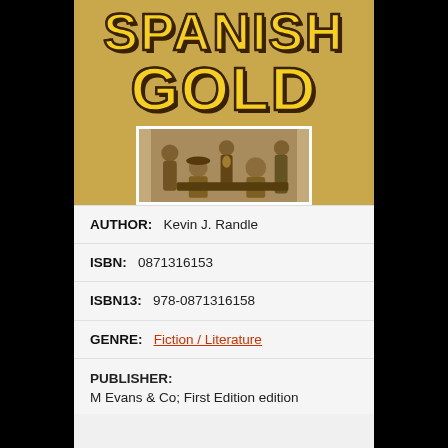[Figure (photo): Book cover of 'Spanish Gold' showing large yellow/gold text title on a gold background with a black and white historical photo of people at a table beneath the title]
AUTHOR:  Kevin J. Randle
ISBN:  0871316153
ISBN13:  978-0871316158
GENRE:  Fiction / Literature
PUBLISHER:
M Evans & Co; First Edition edition